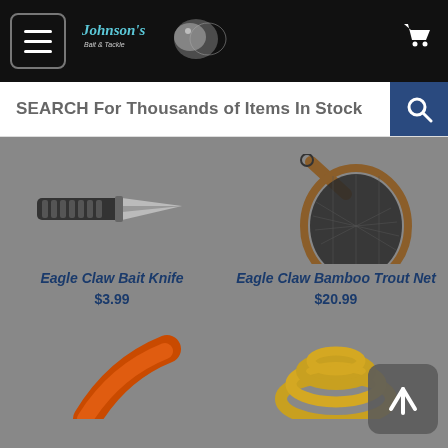[Figure (screenshot): Johnson's Bait & Tackle website header with hamburger menu, logo, and shopping cart icon on black background]
SEARCH For Thousands of Items In Stock
[Figure (photo): Eagle Claw Bait Knife product photo - black handled knife on gray background]
Eagle Claw Bait Knife
$3.99
[Figure (photo): Eagle Claw Bamboo Trout Net product photo - wooden handle fishing net with dark mesh on gray background]
Eagle Claw Bamboo Trout Net
$20.99
[Figure (photo): Partial view of an orange curved fishing lure or worm at bottom left]
[Figure (photo): Partial view of yellow/gold fishing line or slingshot tubing coiled at bottom right]